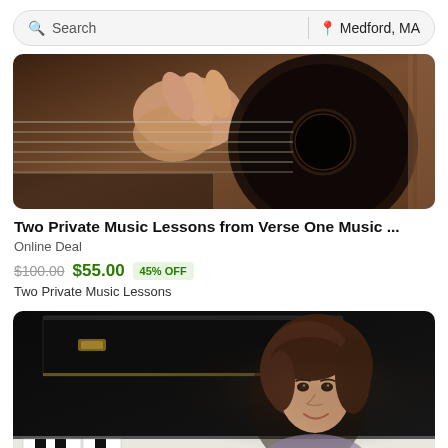Search | Medford, MA
[Figure (photo): Close-up photo of a hand strumming acoustic guitar strings]
Two Private Music Lessons from Verse One Music ...
Online Deal
$100.00  $55.00  45% OFF
Two Private Music Lessons
[Figure (photo): Young girl smiling in front of a black grand piano]